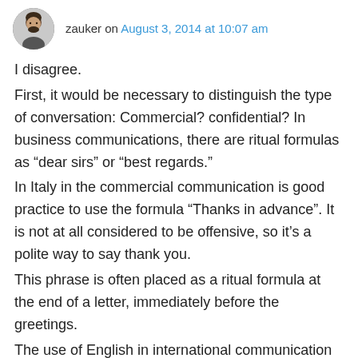zauker on August 3, 2014 at 10:07 am
I disagree.
First, it would be necessary to distinguish the type of conversation: Commercial? confidential? In business communications, there are ritual formulas as “dear sirs” or “best regards.”
In Italy in the commercial communication is good practice to use the formula “Thanks in advance”. It is not at all considered to be offensive, so it’s a polite way to say thank you.
This phrase is often placed as a ritual formula at the end of a letter, immediately before the greetings.
The use of English in international communication implies that the partners are not always just British or American. English is often